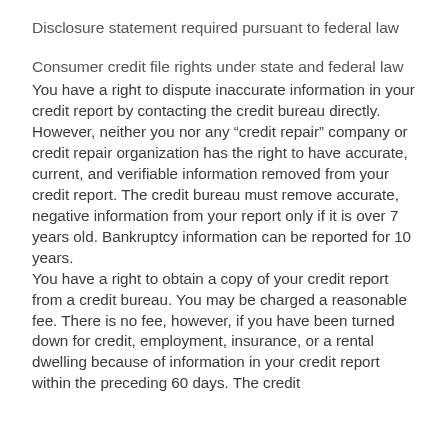Disclosure statement required pursuant to federal law
Consumer credit file rights under state and federal law
You have a right to dispute inaccurate information in your credit report by contacting the credit bureau directly. However, neither you nor any “credit repair” company or credit repair organization has the right to have accurate, current, and verifiable information removed from your credit report. The credit bureau must remove accurate, negative information from your report only if it is over 7 years old. Bankruptcy information can be reported for 10 years.
You have a right to obtain a copy of your credit report from a credit bureau. You may be charged a reasonable fee. There is no fee, however, if you have been turned down for credit, employment, insurance, or a rental dwelling because of information in your credit report within the preceding 60 days. The credit